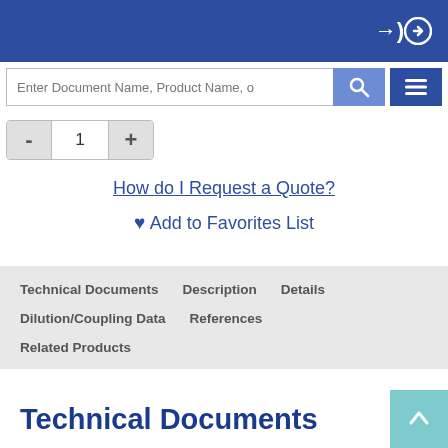Login icon (arrow into circle)
Enter Document Name, Product Name, o
- 1 +
How do I Request a Quote?
♥ Add to Favorites List
Technical Documents   Description   Details
Dilution/Coupling Data   References
Related Products
Technical Documents